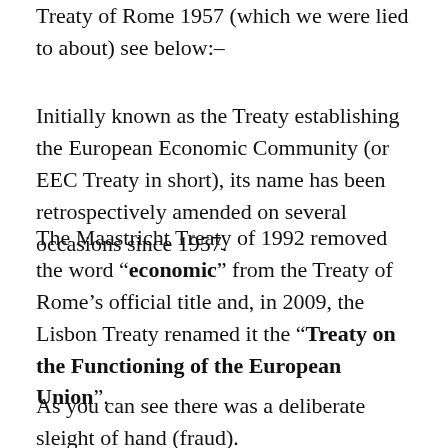Treaty of Rome 1957 (which we were lied to about) see below:-
Initially known as the Treaty establishing the European Economic Community (or EEC Treaty in short), its name has been retrospectively amended on several occasions since 1957.
The Maastricht Treaty of 1992 removed the word “economic” from the Treaty of Rome’s official title and, in 2009, the Lisbon Treaty renamed it the “Treaty on the Functioning of the European Union”.
As you can see there was a deliberate sleight of hand (fraud).